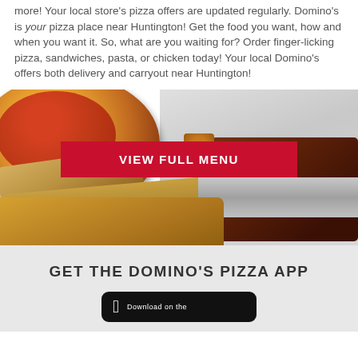more! Your local store's pizza offers are updated regularly. Domino's is your pizza place near Huntington! Get the food you want, how and when you want it. So, what are you waiting for? Order finger-licking pizza, sandwiches, pasta, or chicken today! Your local Domino's offers both delivery and carryout near Huntington!
[Figure (photo): Photo of Domino's food: pizza, sandwich, chicken wings, and breadsticks on a silver background, with a red 'VIEW FULL MENU' button overlaid in the center.]
GET THE DOMINO'S PIZZA APP
[Figure (screenshot): App Store download badge (black rounded rectangle with Apple logo and 'Download on the' text)]